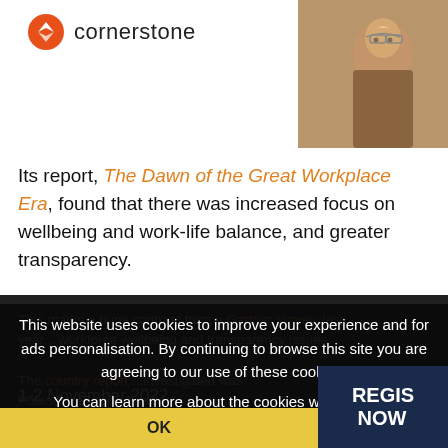[Figure (logo): Cornerstone logo: orange circle with white compass/arrow icon, followed by text 'cornerstone' in dark sans-serif]
[Figure (photo): Photo of a young man with glasses looking at a screen, partially visible in top-right corner]
Its report, The Dawn of the Great Workplace Era, found that there was increased focus on wellbeing and work-life balance, and greater transparency.
This marks a huge contrast from a [Gartner] survey last year... workforce... wellbeing and transparency.
The [report] ...investigated was Poland, ...Europe Trust
This website uses cookies to improve your experience and for ads personalisation. By continuing to browse this site you are agreeing to our use of these cookies.
You can learn more about the cookies we use here.
OK
1-2 November 2022
THE ROYAL LANCASTER, LONDON
REGIS NOW